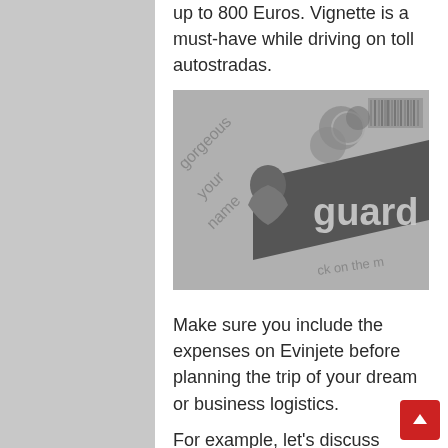up to 800 Euros. Vignette is a must-have while driving on toll autostradas.
[Figure (photo): Grayscale close-up photo of what appears to be a newspaper or publication, showing partial text including 'gorgeous', 'your', 'name', 'guard', and 'ck on the m', with a person's silhouette and circular decorative elements visible.]
Make sure you include the expenses on Evinjete before planning the trip of your dream or business logistics.
For example, let's discuss prices for motorway passes, as in the case of the